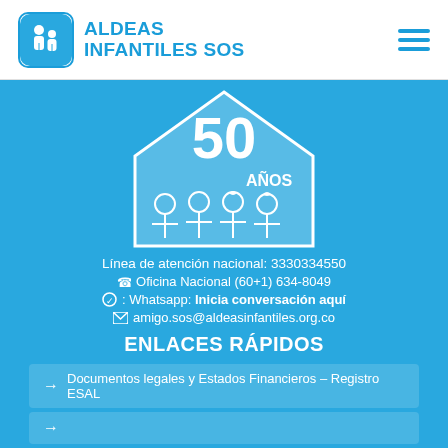ALDEAS INFANTILES SOS
[Figure (illustration): Anniversary logo showing '50 AÑOS' with a house outline and cartoon children figures in white on blue background]
Línea de atención nacional: 3330334550
Oficina Nacional (60+1) 634-8049
Whatsapp: Inicia conversación aquí
amigo.sos@aldeasinfantiles.org.co
ENLACES RÁPIDOS
Documentos legales y Estados Financieros – Registro ESAL